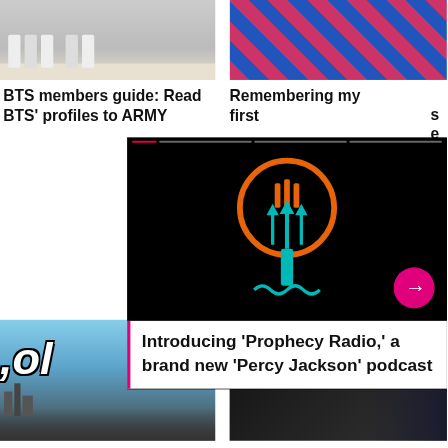[Figure (photo): Top left: BTS members lower body / feet visible, light background]
[Figure (photo): Top right: Colorful patterned fabric, red and blue diamond pattern]
BTS members guide: Read BTS' profiles to ARMY
Remembering my first
[Figure (screenshot): Podcast overlay card on black background featuring Prophecy Radio / Percy Jackson trident microphone logo in orange and teal, with progress bar, three-dot menu, magenta arrow button, and white text card]
Introducing 'Prophecy Radio,' a brand new 'Percy Jackson' podcast
[Figure (photo): Bottom left: Spider-Man PS4 screenshot showing city skyline with blue sky and 'lol' text overlay]
[Figure (photo): Bottom right: Dark image for Harry Potter trivia article]
'Spider-Man' PS4 screenshots show off the game's crazy fun beauty
All the 'Harry Potter' trivia you need for your next party